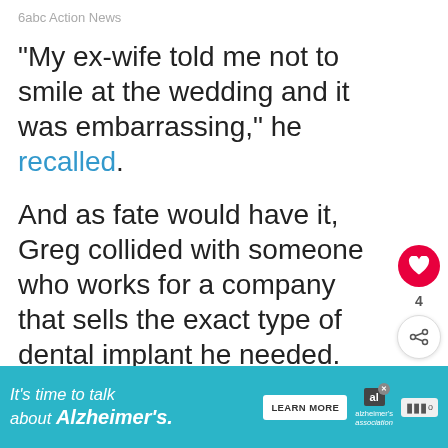6abc Action News
“My ex-wife told me not to smile at the wedding and it was embarrassing,” he recalled.
And as fate would have it, Greg collided with someone who works for a company that sells the exact type of dental implant he needed.
[Figure (screenshot): What's Next promo thumbnail showing Car accident turns into...]
[Figure (infographic): Advertisement banner: It's time to talk about Alzheimer's. Learn More button. Alzheimer's Association logo.]